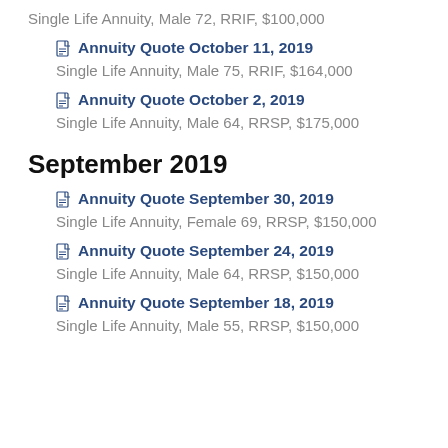Single Life Annuity, Male 72, RRIF, $100,000
Annuity Quote October 11, 2019
Single Life Annuity, Male 75, RRIF, $164,000
Annuity Quote October 2, 2019
Single Life Annuity, Male 64, RRSP, $175,000
September 2019
Annuity Quote September 30, 2019
Single Life Annuity, Female 69, RRSP, $150,000
Annuity Quote September 24, 2019
Single Life Annuity, Male 64, RRSP, $150,000
Annuity Quote September 18, 2019
Single Life Annuity, Male 55, RRSP, $150,000